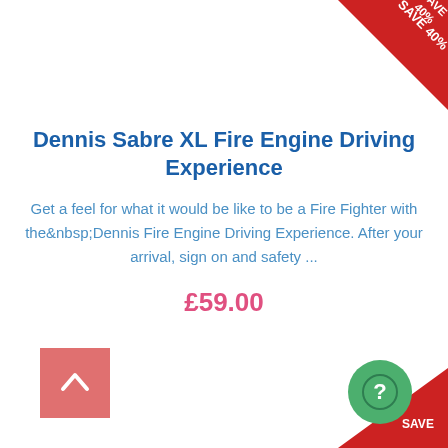[Figure (other): Red corner ribbon badge top-right showing 'SAVE 40%']
Dennis Sabre XL Fire Engine Driving Experience
Get a feel for what it would be like to be a Fire Fighter with the Dennis Fire Engine Driving Experience. After your arrival, sign on and safety ...
£59.00
[Figure (other): Salmon/coral square back-to-top button with upward chevron arrow, bottom-left]
[Figure (other): Green circle help button with question mark, bottom-right]
[Figure (other): Red corner ribbon badge bottom-right showing 'SAVE']